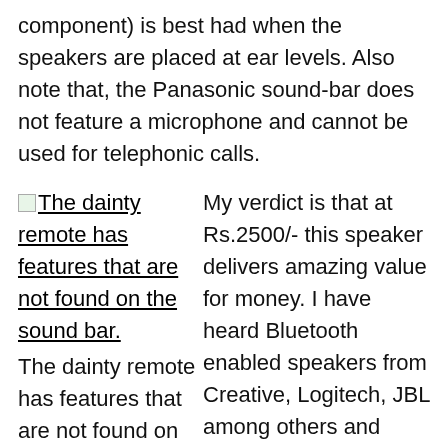component) is best had when the speakers are placed at ear levels. Also note that, the Panasonic sound-bar does not feature a microphone and cannot be used for telephonic calls.
[Figure (photo): Broken/placeholder image icon for 'The dainty remote has features that are not found on the sound bar.']
The dainty remote has features that are not found on the sound bar.
My verdict is that at Rs.2500/- this speaker delivers amazing value for money. I have heard Bluetooth enabled speakers from Creative, Logitech, JBL among others and none of them deliver this volume of audio at such a low price point. If you are looking for a speaker to improve the sound from your TV, you need substantial improvement on the bass sound and